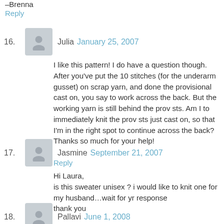–Brenna
Reply
Julia January 25, 2007
I like this pattern! I do have a question though. After you've put the 10 stitches (for the underarm gusset) on scrap yarn, and done the provisional cast on, you say to work across the back. But the working yarn is still behind the prov sts. Am I to immediately knit the prov sts just cast on, so that I'm in the right spot to continue across the back?
Thanks so much for your help!
Reply
Jasmine September 21, 2007
Hi Laura,
is this sweater unisex ? i would like to knit one for my husband...wait for yr response
thank you
Reply
Pallavi June 1, 2008